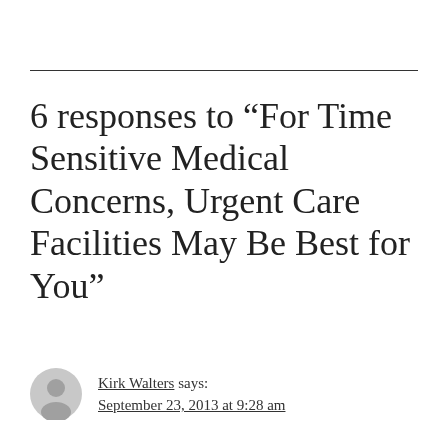6 responses to “For Time Sensitive Medical Concerns, Urgent Care Facilities May Be Best for You”
Kirk Walters says: September 23, 2013 at 9:28 am